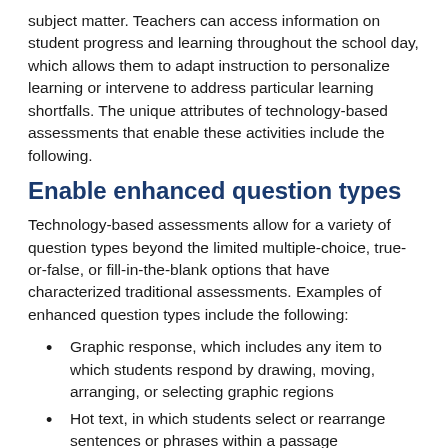subject matter. Teachers can access information on student progress and learning throughout the school day, which allows them to adapt instruction to personalize learning or intervene to address particular learning shortfalls. The unique attributes of technology-based assessments that enable these activities include the following.
Enable enhanced question types
Technology-based assessments allow for a variety of question types beyond the limited multiple-choice, true-or-false, or fill-in-the-blank options that have characterized traditional assessments. Examples of enhanced question types include the following:
Graphic response, which includes any item to which students respond by drawing, moving, arranging, or selecting graphic regions
Hot text, in which students select or rearrange sentences or phrases within a passage
Equation response, in which students respond by entering an equation